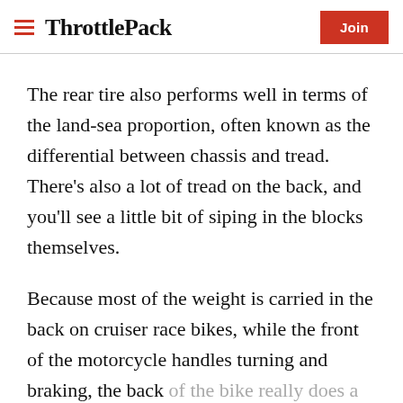ThrottlePack | Join
The rear tire also performs well in terms of the land-sea proportion, often known as the differential between chassis and tread. There's also a lot of tread on the back, and you'll see a little bit of siping in the blocks themselves.
Because most of the weight is carried in the back on cruiser race bikes, while the front of the motorcycle handles turning and braking, the back of the bike really does a lot more work on larger,